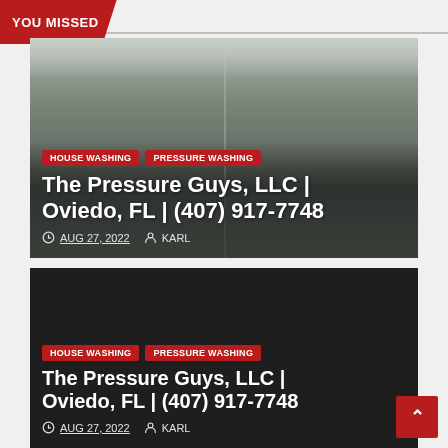YOU MISSED
[Figure (photo): Building exterior before/after pressure washing, showing two panels side by side]
HOUSE WASHING
PRESSURE WASHING
The Pressure Guys, LLC | Oviedo, FL | (407) 917-7748
AUG 27, 2022  KARL
[Figure (photo): Building exterior on dark background - second card]
HOUSE WASHING
PRESSURE WASHING
The Pressure Guys, LLC | Oviedo, FL | (407) 917-7748
AUG 27, 2022  KARL